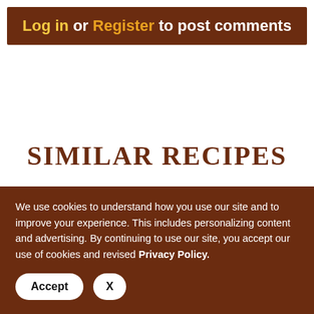Log in or Register to post comments
SIMILAR RECIPES
[Figure (photo): Carousel navigation with left and right arrow buttons and a food photo strip showing chocolate brownies and pecan-topped food items]
We use cookies to understand how you use our site and to improve your experience. This includes personalizing content and advertising. By continuing to use our site, you accept our use of cookies and revised Privacy Policy.
Accept  X